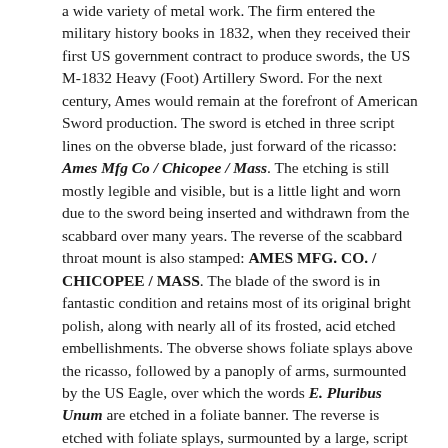a wide variety of metal work. The firm entered the military history books in 1832, when they received their first US government contract to produce swords, the US M-1832 Heavy (Foot) Artillery Sword. For the next century, Ames would remain at the forefront of American Sword production. The sword is etched in three script lines on the obverse blade, just forward of the ricasso: Ames Mfg Co / Chicopee / Mass. The etching is still mostly legible and visible, but is a little light and worn due to the sword being inserted and withdrawn from the scabbard over many years. The reverse of the scabbard throat mount is also stamped: AMES MFG. CO. / CHICOPEE / MASS. The blade of the sword is in fantastic condition and retains most of its original bright polish, along with nearly all of its frosted, acid etched embellishments. The obverse shows foliate splays above the ricasso, followed by a panoply of arms, surmounted by the US Eagle, over which the words E. Pluribus Unum are etched in a foliate banner. The reverse is etched with foliate splays, surmounted by a large, script US, over which are displayed another panoply of arms, which are again surmounted by foliate splays. While it is normally very difficult to date the manufacture of an un-dated M-1850 Staff & Field Officers’ sword, the style in which the “US’ is etched on the blade suggests that this sword was manufactured in mid-1862. Prior to 1862, Ames used a block “US’ on their blades, and by